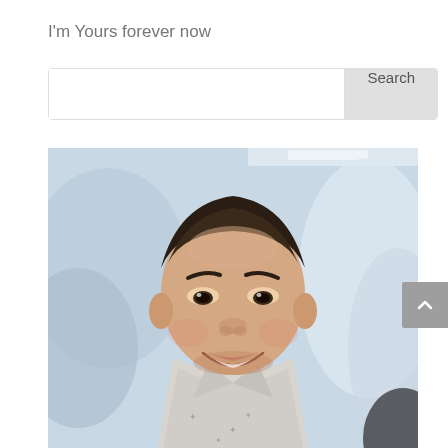I'm Yours forever now
[Figure (screenshot): Search bar with text input field and Search button]
[Figure (photo): A smiling young Asian man in a light grey patterned collared shirt, photographed indoors with blurred background]